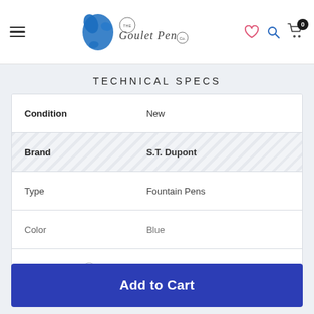[Figure (logo): The Goulet Pen Co logo with blue ink splash and cursive script text]
TECHNICAL SPECS
| Attribute | Value |
| --- | --- |
| Condition | New |
| Brand | S.T. Dupont |
| Type | Fountain Pens |
| Color | Blue |
| Demonstrator | No |
Add to Cart